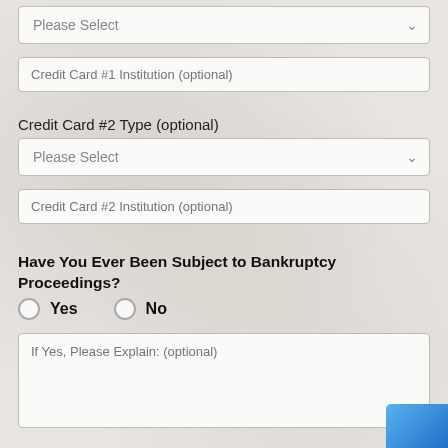Please Select (dropdown - Credit Card #1 Type)
Credit Card #1 Institution (optional)
Credit Card #2 Type (optional)
Please Select (dropdown - Credit Card #2 Type)
Credit Card #2 Institution (optional)
Have You Ever Been Subject to Bankruptcy Proceedings?
Yes  No (radio buttons)
If Yes, Please Explain: (optional)
Have You Ever Obtained Credit Under a Different Name?